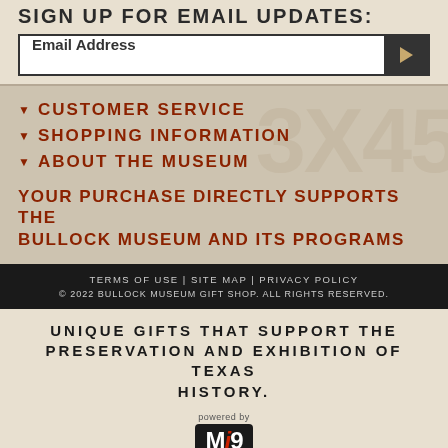SIGN UP FOR EMAIL UPDATES:
Email Address
▼ CUSTOMER SERVICE
▼ SHOPPING INFORMATION
▼ ABOUT THE MUSEUM
YOUR PURCHASE DIRECTLY SUPPORTS THE BULLOCK MUSEUM AND ITS PROGRAMS
TERMS OF USE | SITE MAP | PRIVACY POLICY © 2022 BULLOCK MUSEUM GIFT SHOP. ALL RIGHTS RESERVED.
UNIQUE GIFTS THAT SUPPORT THE PRESERVATION AND EXHIBITION OF TEXAS HISTORY.
[Figure (logo): Mi9 Retail logo - black rounded rectangle with Mi9 text, 'powered by' above, 'RETAIL' below]